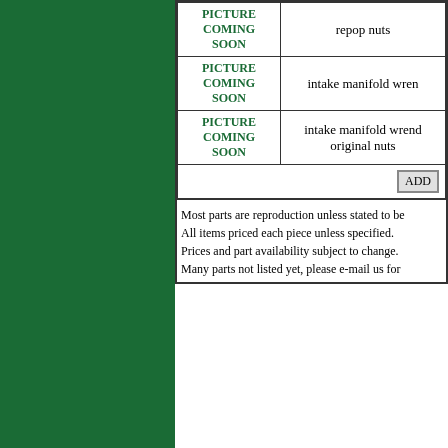| Image | Description |
| --- | --- |
| PICTURE COMING SOON | repop nuts |
| PICTURE COMING SOON | intake manifold wren |
| PICTURE COMING SOON | intake manifold wrend original nuts |
Most parts are reproduction unless stated to be All items priced each piece unless specified. Prices and part availability subject to change. Many parts not listed yet, please e-mail us for